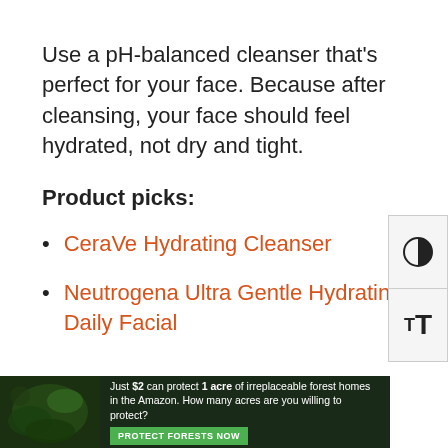Use a pH-balanced cleanser that's perfect for your face. Because after cleansing, your face should feel hydrated, not dry and tight.
Product picks:
CeraVe Hydrating Cleanser
Neutrogena Ultra Gentle Hydrating Daily Facial
[Figure (photo): Advertisement banner: forest/Amazon scene with text 'Just $2 can protect 1 acre of irreplaceable forest homes in the Amazon. How many acres are you willing to protect?' and a green 'PROTECT FORESTS NOW' button.]